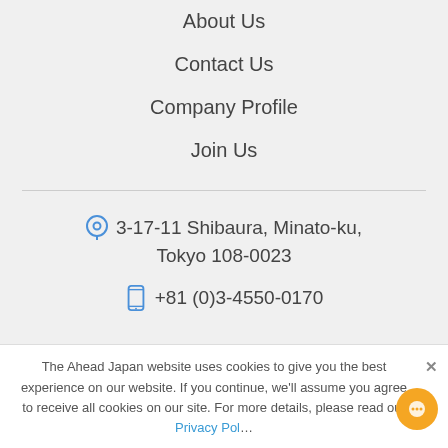About Us
Contact Us
Company Profile
Join Us
3-17-11 Shibaura, Minato-ku,
Tokyo 108-0023
+81 (0)3-4550-0170
The Ahead Japan website uses cookies to give you the best experience on our website. If you continue, we'll assume you agree to receive all cookies on our site. For more details, please read our Privacy Pol…